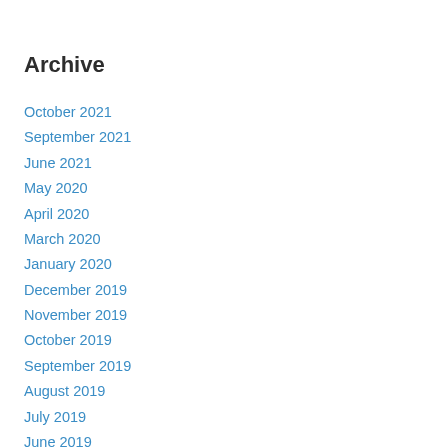Archive
October 2021
September 2021
June 2021
May 2020
April 2020
March 2020
January 2020
December 2019
November 2019
October 2019
September 2019
August 2019
July 2019
June 2019
May 2019
April 2019
March 2019